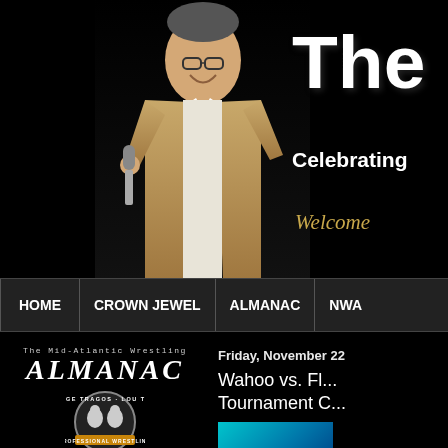[Figure (photo): Man in tan suit holding microphone with Mid-Atlantic Wrestling circular logo behind him, on black background]
The M
Celebrating
Welcome
HOME | CROWN JEWEL | ALMANAC | NWA
[Figure (logo): The Mid-Atlantic Wrestling ALMANAC logo text]
[Figure (logo): George Tragos Lou Thesz Professional Wrestling Hall of Fame circular logo]
Friday, November 22
Wahoo vs. Fl... Tournament C...
[Figure (photo): Teal/blue colored image thumbnail]